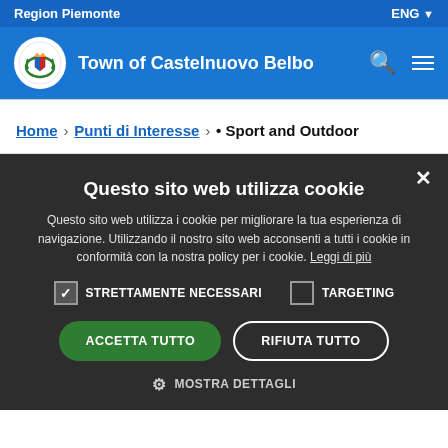Region Piemonte | ENG
Town of Castelnuovo Belbo
Home > Punti di Interesse > • Sport and Outdoor
Questo sito web utilizza cookie
Questo sito web utilizza i cookie per migliorare la tua esperienza di navigazione. Utilizzando il nostro sito web acconsenti a tutti i cookie in conformità con la nostra policy per i cookie. Leggi di più
STRETTAMENTE NECESSARI | TARGETING
ACCETTA TUTTO | RIFIUTA TUTTO
MOSTRA DETTAGLI